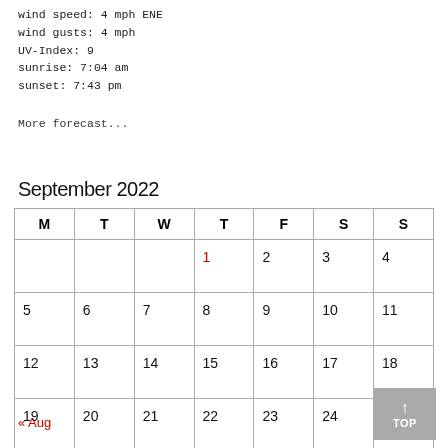wind speed: 4 mph ENE
wind gusts: 4 mph
UV-Index: 9
sunrise: 7:04 am
sunset: 7:43 pm
More forecast...
September 2022
| M | T | W | T | F | S | S |
| --- | --- | --- | --- | --- | --- | --- |
|  |  |  | 1 | 2 | 3 | 4 |
| 5 | 6 | 7 | 8 | 9 | 10 | 11 |
| 12 | 13 | 14 | 15 | 16 | 17 | 18 |
| 19 | 20 | 21 | 22 | 23 | 24 | 25 |
| 26 | 27 | 28 | 29 | 30 |  |  |
« Aug